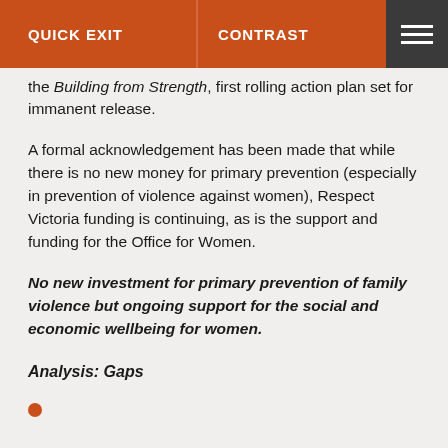QUICK EXIT   CONTRAST
the Building from Strength, first rolling action plan set for immanent release.
A formal acknowledgement has been made that while there is no new money for primary prevention (especially in prevention of violence against women), Respect Victoria funding is continuing, as is the support and funding for the Office for Women.
No new investment for primary prevention of family violence but ongoing support for the social and economic wellbeing for women.
Analysis: Gaps